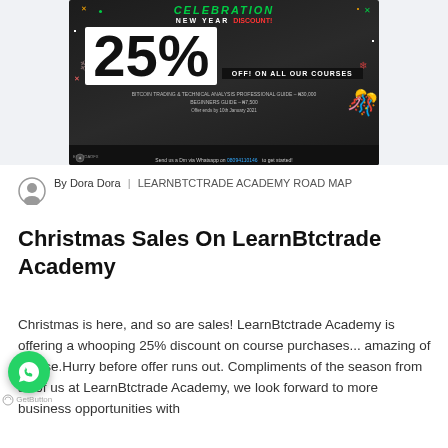[Figure (infographic): Christmas / New Year 25% discount promotional banner for LearnBtcTrade Academy courses. Shows '25% OFF! ON ALL OUR COURSES', Bitcoin Trading course N30,000 and Beginners Guide N7,500. Offer ends 10th January 2021. Contact via WhatsApp 08094110146.]
By Dora Dora | LEARNBTCTRADE ACADEMY ROAD MAP
Christmas Sales On LearnBtctrade Academy
Christmas is here, and so are sales! LearnBtctrade Academy is offering a whooping 25% discount on course purchases... amazing of course.Hurry before offer runs out. Compliments of the season from all of us at LearnBtctrade Academy, we look forward to more business opportunities with